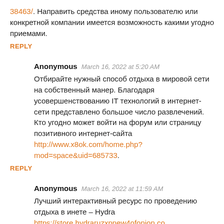38463/. Направить средства иному пользователю или конкретной компании имеется возможность какими угодно приемами.
REPLY
Anonymous   March 16, 2022 at 5:20 AM
Отбирайте нужный способ отдыха в мировой сети на собственный манер. Благодаря усовершенствованию IT технологий в интернет-сети представлено большое число развлечений. Кто угодно может войти на форум или страницу позитивного интернет-сайта http://www.x8ok.com/home.php?mod=space&uid=685733.
REPLY
Anonymous   March 16, 2022 at 11:59 AM
Лучший интерактивный ресурс по проведению отдыха в инете – Hydra https://store.hydraruzxpnew4ofonion.co...